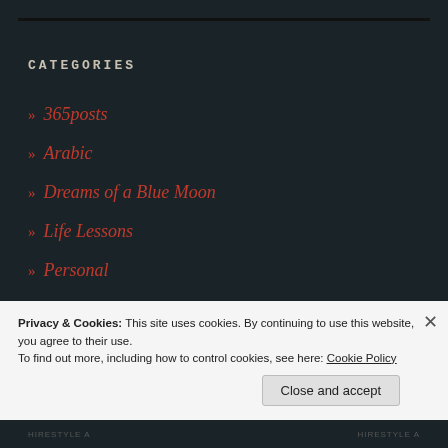CATEGORIES
» 365posts
» Arabic
» Dreams of a Blue Moon
» Life Lessons
» Personal
» Poetry
» prompts
» SHORT STORY
Privacy & Cookies: This site uses cookies. By continuing to use this website, you agree to their use.
To find out more, including how to control cookies, see here: Cookie Policy
Close and accept